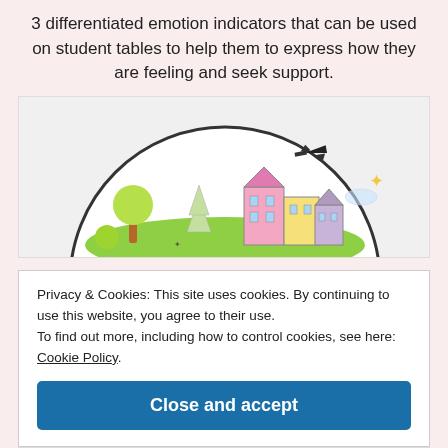3 differentiated emotion indicators that can be used on student tables to help them to express how they are feeling and seek support.
[Figure (illustration): Circular illustration showing a colourful town scene with buildings, trees, a flying airplane, and green hills, rendered in a child-friendly drawing style. The bottom portion is cropped.]
Privacy & Cookies: This site uses cookies. By continuing to use this website, you agree to their use.
To find out more, including how to control cookies, see here: Cookie Policy.
Close and accept